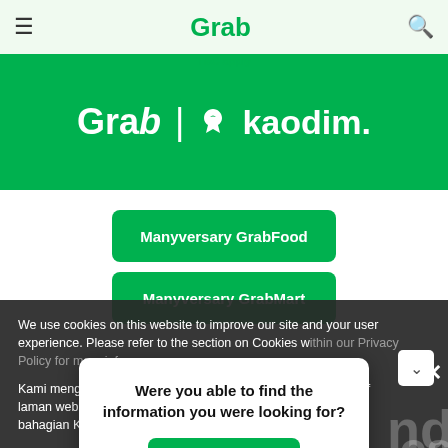[Figure (screenshot): Grab mobile app website screenshot showing navigation bar with hamburger menu, Grab logo, and search icon on light green background]
[Figure (logo): Green banner showing Grab and Kaodim logos side by side in white text on green background]
Manyversary GrabFood
Manyversary GrabMart
We use cookies on this website to improve our site and your user experience. Please refer to the section on Cookies within our Privacy Policy for more info
Kami menggunakan kuki di laman web ini untuk memperbaiki laman web kami dan pengalaman pengguna anda. Sila rujuk bahagian Ku
Were you able to find the information you were looking for?
Reply